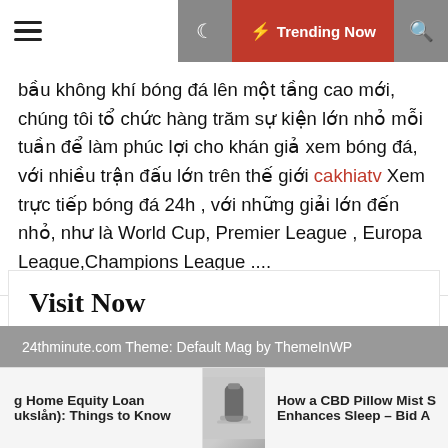☰  🌙  ⚡ Trending Now  🔍
bầu không khí bóng đá lên một tầng cao mới, chúng tôi tổ chức hàng trăm sự kiện lớn nhỏ mỗi tuần để làm phúc lợi cho khán giả xem bóng đá, với nhiều trận đấu lớn trên thế giới cakhiatv Xem trực tiếp bóng đá 24h , với những giải lớn đến nhỏ, như là World Cup, Premier League , Europa League,Champions League ....
Visit Now
Home Design
24thminute.com Theme: Default Mag by ThemeInWP
g Home Equity Loan ukslån): Things to Know   How a CBD Pillow Mist S Enhances Sleep – Bid A